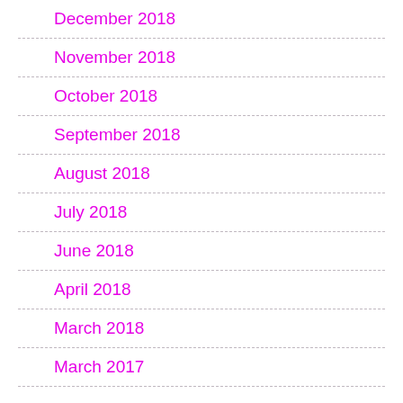December 2018
November 2018
October 2018
September 2018
August 2018
July 2018
June 2018
April 2018
March 2018
March 2017